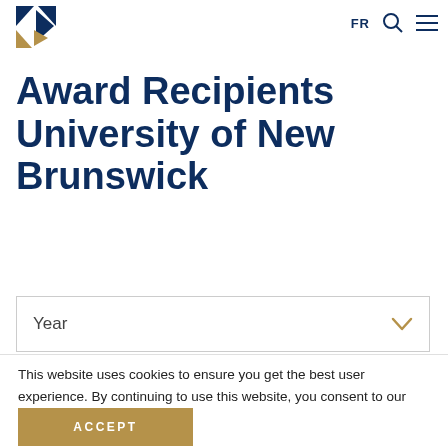FR [search] [menu]
[Figure (logo): University logo with blue and gold triangular shapes]
Award Recipients University of New Brunswick
Year [dropdown]
This website uses cookies to ensure you get the best user experience. By continuing to use this website, you consent to our use of cookies.
ACCEPT